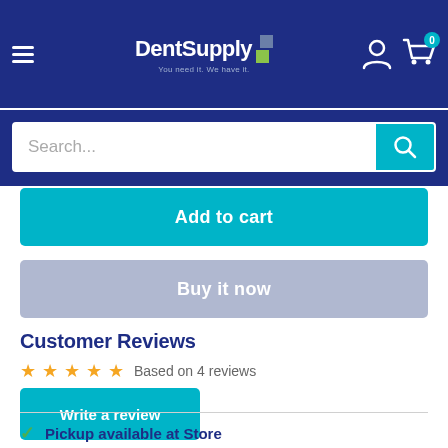[Figure (screenshot): DentSupply website header with logo, hamburger menu, user account icon, and cart icon showing 0 items]
Search...
Add to cart
Buy it now
Customer Reviews
Based on 4 reviews
Write a review
Pickup available at Store